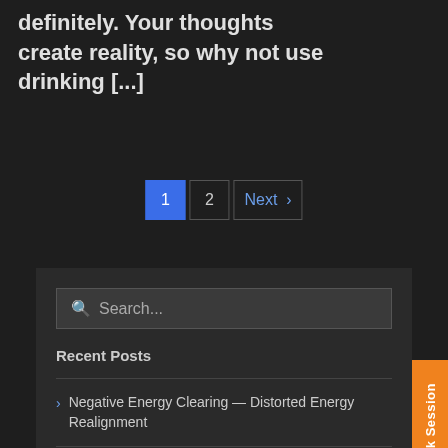definitely. Your thoughts create reality, so why not use drinking [...]
1  2  Next >
[Figure (screenshot): Search box with placeholder text 'Search...']
Recent Posts
Negative Energy Clearing — Distorted Energy Realignment
Legit vs Fake Psychics by a Legit Psychic